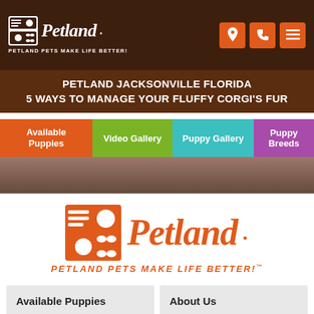[Figure (logo): Petland logo with icon and tagline 'Petland Pets Make Life Better!' in white on dark brown header background, with orange location, phone, and menu icon buttons on the right]
PETLAND JACKSONVILLE FLORIDA
5 WAYS TO MANAGE YOUR FLUFFY CORGI'S FUR
[Figure (screenshot): Navigation tab bar with four colored tabs: 'Available Puppies' (orange), 'Video Gallery' (green), 'Puppy Gallery' (teal), 'Puppy Breeds' (purple)]
[Figure (logo): Large Petland logo in orange on white background with tagline 'Petland Pets Make Life Better!' below]
Available Puppies
About Us
Special Financing*
Contact Us
Privacy Policy